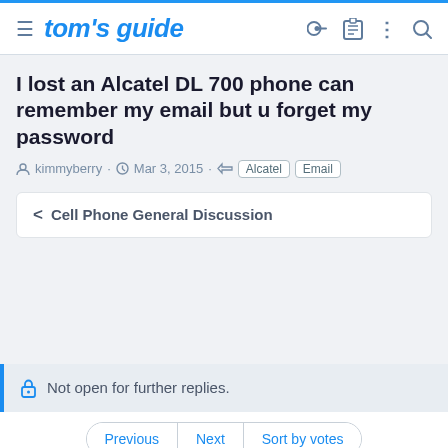tom's guide
I lost an Alcatel DL 700 phone can remember my email but u forget my password
kimmyberry · Mar 3, 2015 · Alcatel Email
< Cell Phone General Discussion
Not open for further replies.
Previous Next Sort by votes